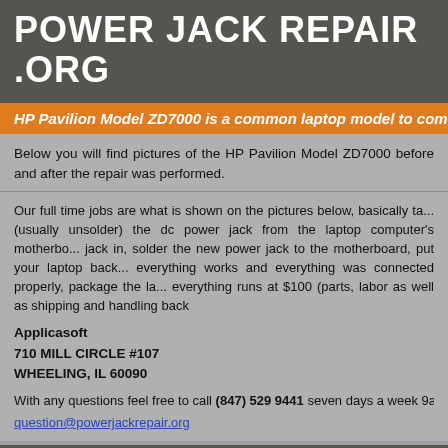POWER JACK REPAIR .ORG
HP Pavilion Model ZD7000 is a common laptop model to come here for
Below you will find pictures of the HP Pavilion Model ZD7000 before and after the repair was performed.
Our full time jobs are what is shown on the pictures below, basically take apart laptops, (usually unsolder) the dc power jack from the laptop computer's motherboard, plug a new jack in, solder the new power jack to the motherboard, put your laptop back together, verify everything works and everything was connected properly, package the laptop up... everything runs at $100 (parts, labor as well as shipping and handling back to you).
Applicasoft
710 MILL CIRCLE #107
WHEELING, IL 60090
With any questions feel free to call (847) 529 9441 seven days a week 9a.m question@powerjackrepair.org
Make and model:HP Pavilion Model ZD7000